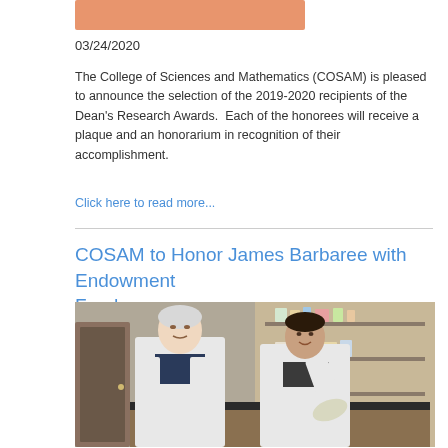[Figure (photo): Orange/salmon colored image strip at the top (partial view of a previous article image)]
03/24/2020
The College of Sciences and Mathematics (COSAM) is pleased to announce the selection of the 2019-2020 recipients of the Dean's Research Awards.  Each of the honorees will receive a plaque and an honorarium in recognition of their accomplishment.
Click here to read more...
COSAM to Honor James Barbaree with Endowment Fund
[Figure (photo): Two men in white lab coats in a laboratory setting. An older man on the left and a younger man on the right who is gesturing with gloved hands. Lab shelves with equipment visible in the background.]